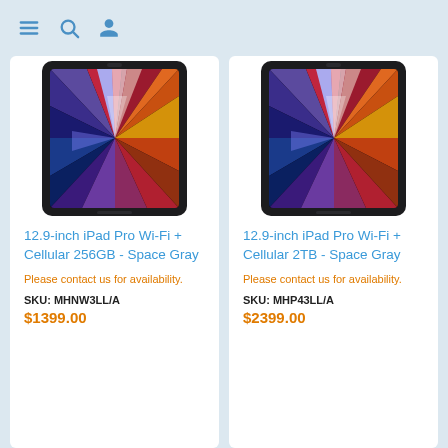Navigation header with menu, search, and user icons
[Figure (photo): iPad Pro 12.9-inch in Space Gray showing colorful display, front and back view]
12.9-inch iPad Pro Wi-Fi + Cellular 256GB - Space Gray
Please contact us for availability.
SKU: MHNW3LL/A
$1399.00
[Figure (photo): iPad Pro 12.9-inch in Space Gray showing colorful display, front and back view]
12.9-inch iPad Pro Wi-Fi + Cellular 2TB - Space Gray
Please contact us for availability.
SKU: MHP43LL/A
$2399.00